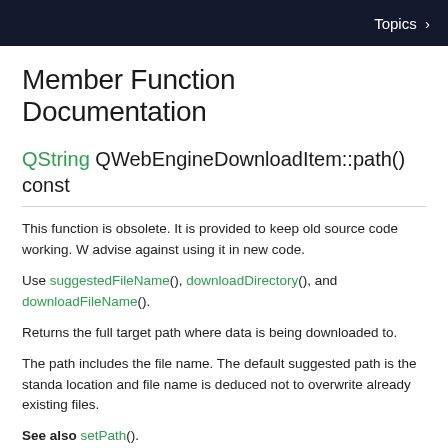Topics >
Member Function Documentation
QString QWebEngineDownloadItem::path() const
This function is obsolete. It is provided to keep old source code working. We strongly advise against using it in new code.
Use suggestedFileName(), downloadDirectory(), and downloadFileName().
Returns the full target path where data is being downloaded to.
The path includes the file name. The default suggested path is the standard download location and file name is deduced not to overwrite already existing files.
See also setPath().
void QWebEngineDownloadItem::setPath(QString p